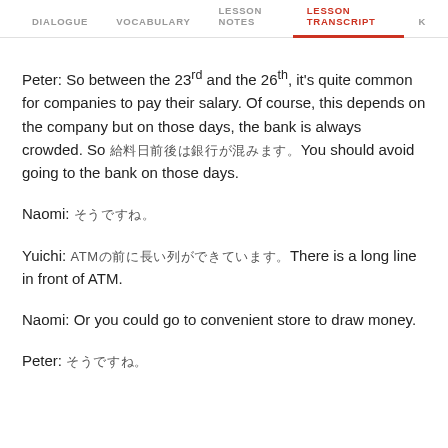DIALOGUE  VOCABULARY  LESSON NOTES  LESSON TRANSCRIPT  K
Peter: So between the 23rd and the 26th, it's quite common for companies to pay their salary. Of course, this depends on the company but on those days, the bank is always crowded. So 給料日前後は銀行が混みます。You should avoid going to the bank on those days.
Naomi: そうですね。
Yuichi: ATMの前に長い列ができています。There is a long line in front of ATM.
Naomi: Or you could go to convenient store to draw money.
Peter: そうですね。